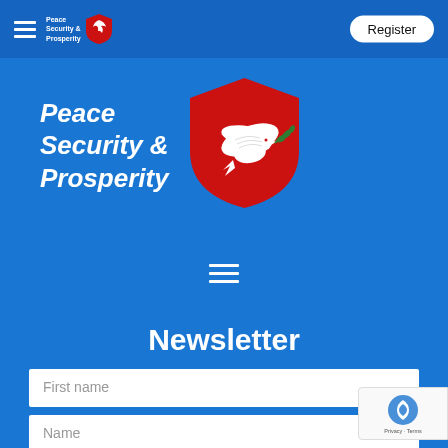Peace Security & Prosperity — Register
[Figure (logo): Peace Security & Prosperity shield logo with white dove holding olive branch on red shield background]
Peace Security & Prosperity
Newsletter
First name
Name